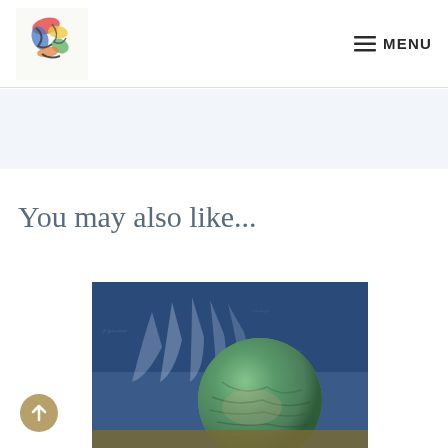Logo | MENU
[Figure (other): Light blue/gray banner area below header]
You may also like...
[Figure (photo): Artwork painting showing a large green textured sphere against a blue background with fan-like white brushstroke shapes]
[Figure (other): Circular scroll-to-top button, tan/gold color with upward arrow]